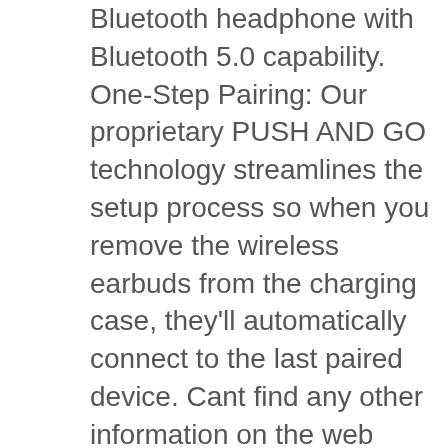Bluetooth headphone with Bluetooth 5.0 capability. One-Step Pairing: Our proprietary PUSH AND GO technology streamlines the setup process so when you remove the wireless earbuds from the charging case, they'll automatically connect to the last paired device. Cant find any other information on the web about this particular issue. Once in pairing mode, try reconnecting to the speaker. The balancing act is keeping the price low while not skimping on the features. The right pairs to the phone ok but does not sync with the other. Made of high quality silicone material, shock absorbent and durable. Why doesn't the light on the charging case light up? Soundcore Liberty Air 2 HearID　　　　&□□□□□□□□□□□□□□□□□□□ □□□□□□□□□□□□□□□□□□□Hearing Profile□□□□□　　　　Try reducing the distance between your right earbud and your audio device, like having your audio device in your right pocket or